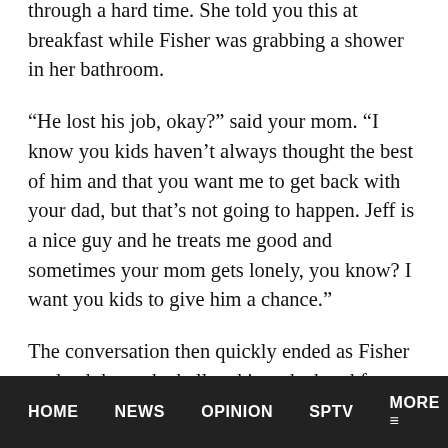through a hard time. She told you this at breakfast while Fisher was grabbing a shower in her bathroom.
“He lost his job, okay?” said your mom. “I know you kids haven’t always thought the best of him and that you want me to get back with your dad, but that’s not going to happen. Jeff is a nice guy and he treats me good and sometimes your mom gets lonely, you know? I want you kids to give him a chance.”
The conversation then quickly ended as Fisher trudged down the hall and into the breakfast
HOME    NEWS    OPINION    SPTV    MORE ≡